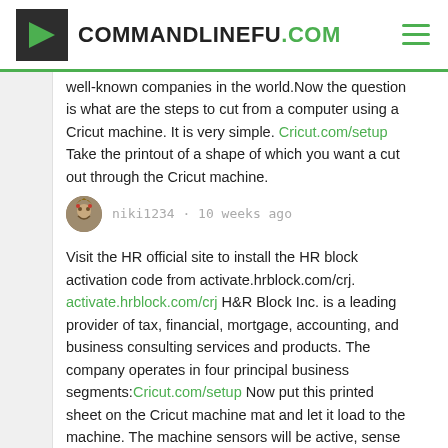COMMANDLINEFU.COM
well-known companies in the world.Now the question is what are the steps to cut from a computer using a Cricut machine. It is very simple. Cricut.com/setup Take the printout of a shape of which you want a cut out through the Cricut machine.
niki1234 · 10 weeks ago
Visit the HR official site to install the HR block activation code from activate.hrblock.com/crj. activate.hrblock.com/crj H&R Block Inc. is a leading provider of tax, financial, mortgage, accounting, and business consulting services and products. The company operates in four principal business segments:Cricut.com/setup Now put this printed sheet on the Cricut machine mat and let it load to the machine. The machine sensors will be active, sense the impression on the printed sheet, and cut it out